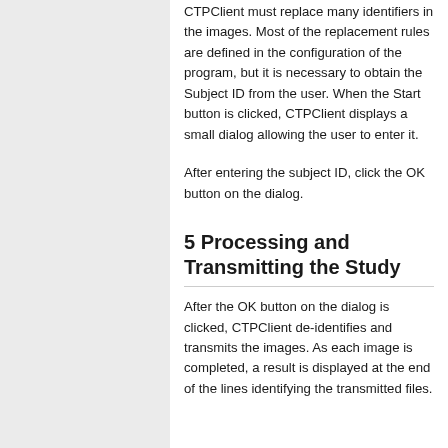CTPClient must replace many identifiers in the images. Most of the replacement rules are defined in the configuration of the program, but it is necessary to obtain the Subject ID from the user. When the Start button is clicked, CTPClient displays a small dialog allowing the user to enter it.
After entering the subject ID, click the OK button on the dialog.
5 Processing and Transmitting the Study
After the OK button on the dialog is clicked, CTPClient de-identifies and transmits the images. As each image is completed, a result is displayed at the end of the lines identifying the transmitted files.